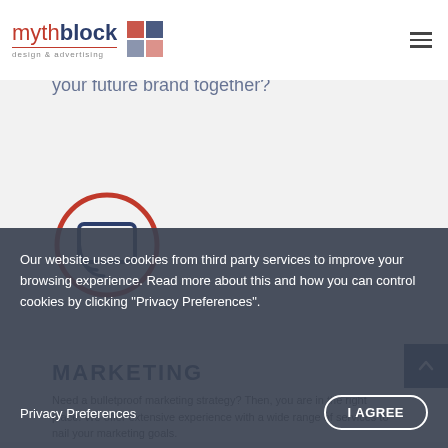mythblock design & advertising
your future brand together?
[Figure (illustration): Red circle outline containing a dark navy cast/broadcast icon (screen with wifi signal)]
MARKETING
Need a bulletproof marketing strategy? Then, you are in the right place. We offer extensive experience with a wide range of services to nail your marketing goals.
Our website uses cookies from third party services to improve your browsing experience. Read more about this and how you can control cookies by clicking "Privacy Preferences".
Privacy Preferences
I AGREE